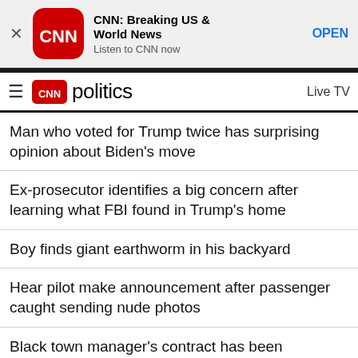[Figure (screenshot): CNN Breaking US & World News app banner ad with CNN logo, title, subtitle 'Listen to CNN now', and OPEN button]
CNN politics | Live TV
Man who voted for Trump twice has surprising opinion about Biden's move
Ex-prosecutor identifies a big concern after learning what FBI found in Trump's home
Boy finds giant earthworm in his backyard
Hear pilot make announcement after passenger caught sending nude photos
Black town manager's contract has been terminated weeks after entire police force resigned